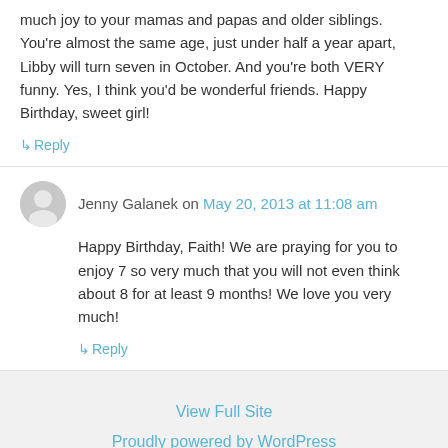much joy to your mamas and papas and older siblings. You're almost the same age, just under half a year apart, Libby will turn seven in October. And you're both VERY funny. Yes, I think you'd be wonderful friends. Happy Birthday, sweet girl!
↳ Reply
Jenny Galanek on May 20, 2013 at 11:08 am
Happy Birthday, Faith! We are praying for you to enjoy 7 so very much that you will not even think about 8 for at least 9 months! We love you very much!
↳ Reply
View Full Site
Proudly powered by WordPress
☺